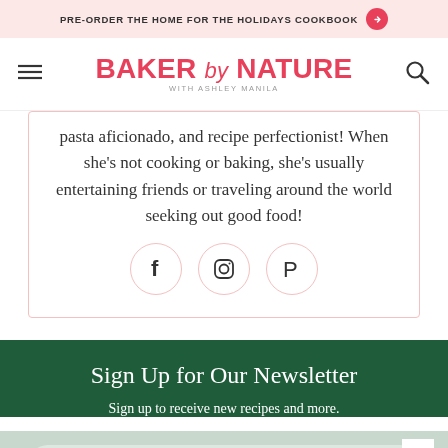PRE-ORDER THE HOME FOR THE HOLIDAYS COOKBOOK
BAKER by NATURE WITH ASHLEY MANILA
pasta aficionado, and recipe perfectionist! When she's not cooking or baking, she's usually entertaining friends or traveling around the world seeking out good food!
[Figure (infographic): Three social media icons in circles: Facebook (f), Instagram (camera), Pinterest (P)]
Sign Up for Our Newsletter
Sign up to receive new recipes and more.
NAME